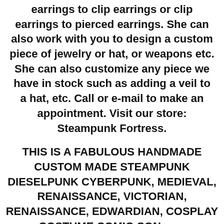earrings to clip earrings or clip earrings to pierced earrings. She can also work with you to design a custom piece of jewelry or hat, or weapons etc. She can also customize any piece we have in stock such as adding a veil to a hat, etc. Call or e-mail to make an appointment. Visit our store: Steampunk Fortress.
THIS IS A FABULOUS HANDMADE CUSTOM MADE STEAMPUNK DIESELPUNK CYBERPUNK, MEDIEVAL, RENAISSANCE, VICTORIAN, RENAISSANCE, EDWARDIAN, COSPLAY COSTUME COMIC CON........ ADJUSTABLE STEAMPUNK RING.....SILVER TONE